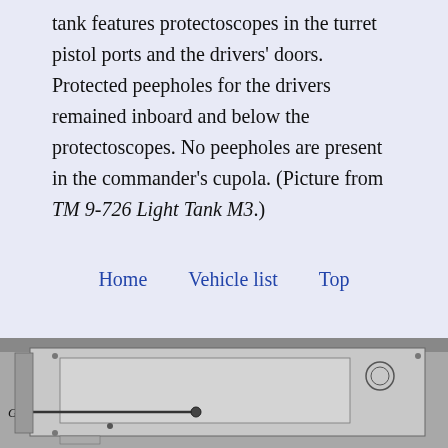tank features protectoscopes in the turret pistol ports and the drivers' doors. Protected peepholes for the drivers remained inboard and below the protectoscopes. No peepholes are present in the commander's cupola. (Picture from TM 9-726 Light Tank M3.)
Home   Vehicle list   Top
[Figure (photo): Black and white photograph showing a close-up technical view of a tank component — appears to be a mechanical panel or door with a horizontal rod/handle mechanism labeled G, rivets, and a circular element in the upper right.]